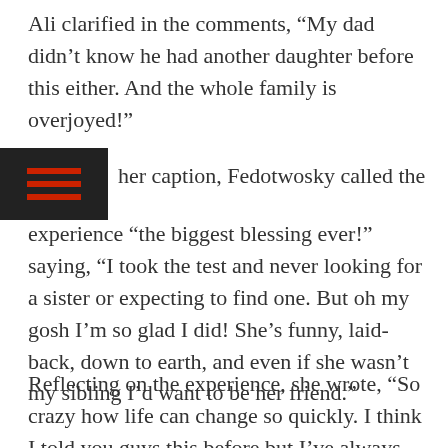Ali clarified in the comments, “My dad didn’t know he had another daughter before this either. And the whole family is overjoyed!”
her caption, Fedotwosky called the experience “the biggest blessing ever!” saying, “I took the test and never looking for a sister or expecting to find one. But oh my gosh I’m so glad I did! She’s funny, laid-back, down to earth, and even if she wasn’t my sibling I’d want to be her friend.”
Reflecting on the experience, she wrote, “So crazy how life can change so quickly. I think I told you guys this before but I’ve always wanted a bigger family, and I feel like my wish